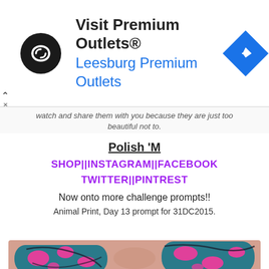[Figure (other): Advertisement banner for Premium Outlets with circular black logo with infinity-like symbol, text 'Visit Premium Outlets® Leesburg Premium Outlets' and blue navigation arrow diamond icon on right]
watch and share them with you because they are just too beautiful not to.
Polish 'M
SHOP||INSTAGRAM||FACEBOOK TWITTER||PINTREST
Now onto more challenge prompts!!
Animal Print, Day 13 prompt for 31DC2015.
[Figure (photo): Close-up photo of fingers with animal print nail art: dark teal/black background with bright pink irregular spots, resembling leopard or animal print pattern]